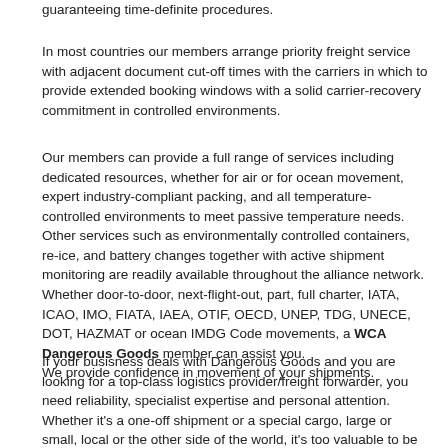guaranteeing time-definite procedures.
In most countries our members arrange priority freight service with adjacent document cut-off times with the carriers in which to provide extended booking windows with a solid carrier-recovery commitment in controlled environments.
Our members can provide a full range of services including dedicated resources, whether for air or for ocean movement, expert industry-compliant packing, and all temperature-controlled environments to meet passive temperature needs.  Other services such as environmentally controlled containers, re-ice, and battery changes together with active shipment monitoring are readily available throughout the alliance network. Whether door-to-door, next-flight-out, part, full charter, IATA, ICAO, IMO, FIATA, IAEA, OTIF, OECD, UNEP, TDG, UNECE, DOT, HAZMAT or ocean IMDG Code movements, a WCA Dangerous Goods member can assist you.
We provide confidence in movement of your shipments.
If your busisness deals with Dangerous Goods and you are looking for a top-class logistics provider/freight forwarder, you need reliability, specialist expertise and personal attention. Whether it's a one-off shipment or a special cargo, large or small, local or the other side of the world, it's too valuable to be left to chance.